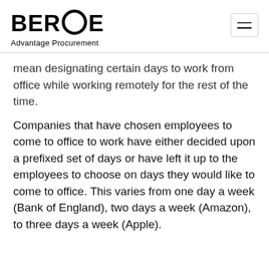BEROE Advantage Procurement
…mean designating certain days to work from office while working remotely for the rest of the time.
Companies that have chosen employees to come to office to work have either decided upon a prefixed set of days or have left it up to the employees to choose on days they would like to come to office. This varies from one day a week (Bank of England), two days a week (Amazon), to three days a week (Apple).